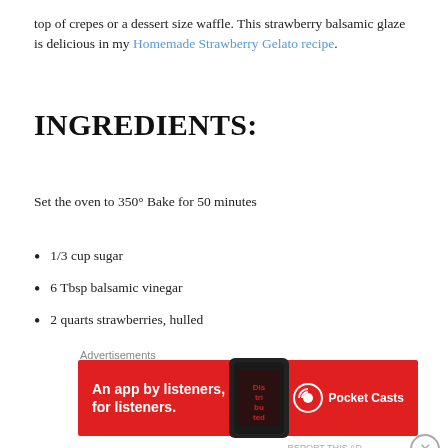top of crepes or a dessert size waffle. This strawberry balsamic glaze is delicious in my Homemade Strawberry Gelato recipe.
INGREDIENTS:
Set the oven to 350°  Bake for 50 minutes
1/3 cup sugar
6 Tbsp balsamic vinegar
2 quarts strawberries, hulled
[Figure (screenshot): Advertisement banner for Pocket Casts app: red background with text 'An app by listeners, for listeners.' and Pocket Casts logo/icon on the right, phone image in middle showing 'Dis tri bu ted' text]
[Figure (screenshot): Advertisement banner for ULTA beauty with makeup/eye images and 'SHOP NOW' text on right]